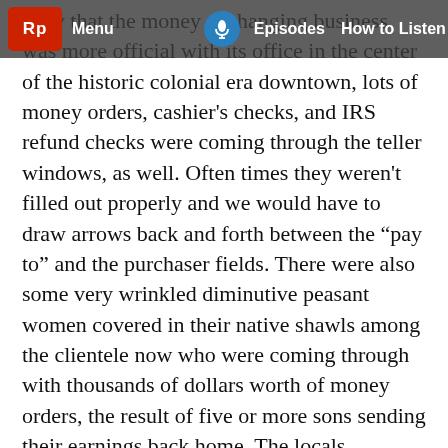Rp Menu | Episodes | How to Listen
Now that the money exchanging business was more official with its office in the center of the historic colonial era downtown, lots of money orders, cashier's checks, and IRS refund checks were coming through the teller windows, as well. Often times they weren't filled out properly and we would have to draw arrows back and forth between the “pay to” and the purchaser fields. There were also some very wrinkled diminutive peasant women covered in their native shawls among the clientele now who were coming through with thousands of dollars worth of money orders, the result of five or more sons sending their earnings back home. The locals informed us that Michoacan had reached the point to where there were more people from Michoacan living in the U.S. than in Michoacan, itself.  And the rural villages that we used to go to with our father, were now devoid of men. Since all of the able-bodied males from the ages of twelve to fifty were in the United States working. We actually missed getting to explore some of the nothing...